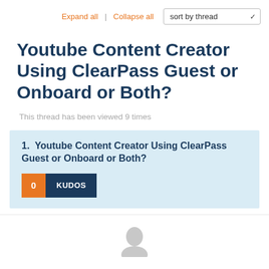Expand all | Collapse all   sort by thread
Youtube Content Creator Using ClearPass Guest or Onboard or Both?
This thread has been viewed 9 times
1.  Youtube Content Creator Using ClearPass Guest or Onboard or Both?
0  KUDOS
[Figure (illustration): Partial user avatar (grey silhouette) visible at the bottom of the page]